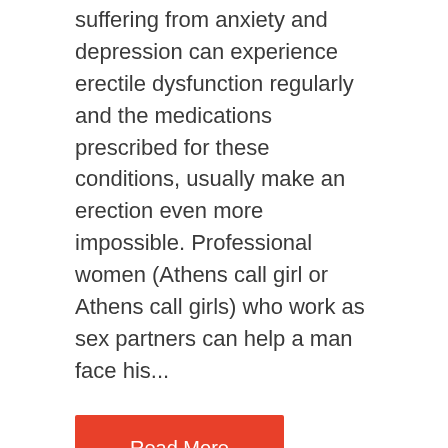suffering from anxiety and depression can experience erectile dysfunction regularly and the medications prescribed for these conditions, usually make an erection even more impossible. Professional women (Athens call girl or Athens call girls) who work as sex partners can help a man face his...
Read More
[Figure (infographic): Orange advertisement banner with text 'MAKE $10.000 PER MONTH WITH AMAZON FBA' and a person with arms outstretched on the right side]